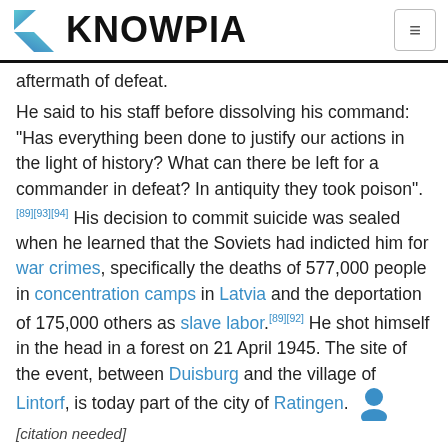KNOWPIA
aftermath of defeat.
He said to his staff before dissolving his command: "Has everything been done to justify our actions in the light of history? What can there be left for a commander in defeat? In antiquity they took poison".[89][93][94] His decision to commit suicide was sealed when he learned that the Soviets had indicted him for war crimes, specifically the deaths of 577,000 people in concentration camps in Latvia and the deportation of 175,000 others as slave labor.[89][92] He shot himself in the head in a forest on 21 April 1945. The site of the event, between Duisburg and the village of Lintorf, is today part of the city of Ratingen. [citation needed]
Model was buried in the place where he shot